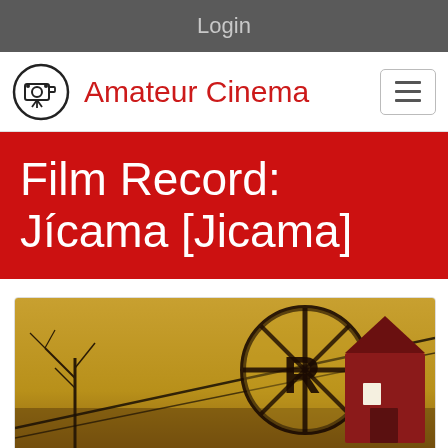Login
Amateur Cinema
Film Record: Jícama [Jicama]
[Figure (photo): Film still showing a barn with a large circular sign/wheel with the letter R, bare trees in background, golden-brown toned image]